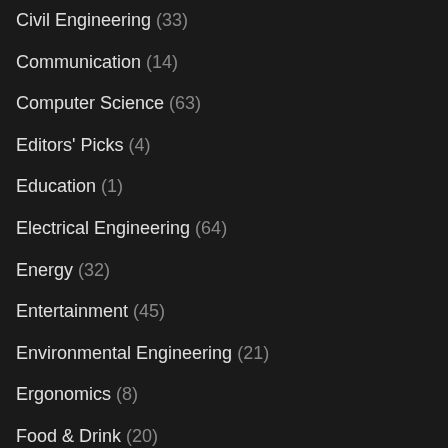Civil Engineering (33)
Communication (14)
Computer Science (63)
Editors' Picks (4)
Education (1)
Electrical Engineering (64)
Energy (32)
Entertainment (45)
Environmental Engineering (21)
Ergonomics (8)
Food & Drink (20)
H2O (6)